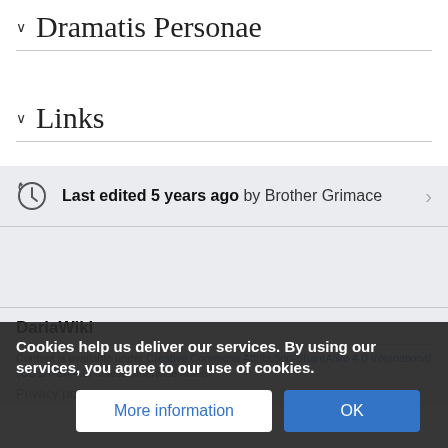∨  Dramatis Personae
∨  Links
Last edited 5 years ago by Brother Grimace
DariaWiki
Content is available under Creative Commons Attribution-ShareAlike 4.0 International (CC BY-SA 4.0) unless otherwise noted.
Privacy policy
Cookies help us deliver our services. By using our services, you agree to our use of cookies.